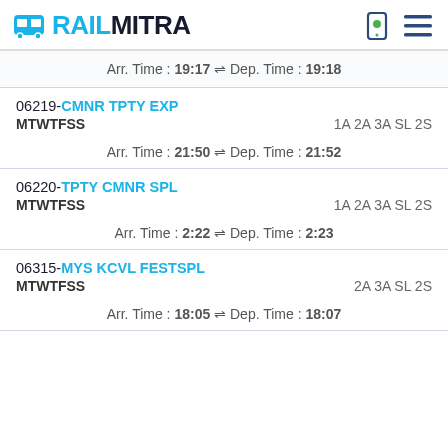RAILMITRA
Arr. Time : 19:17 ⇌ Dep. Time : 19:18
06219-CMNR TPTY EXP MTWTFSS 1A 2A 3A SL 2S
Arr. Time : 21:50 ⇌ Dep. Time : 21:52
06220-TPTY CMNR SPL MTWTFSS 1A 2A 3A SL 2S
Arr. Time : 2:22 ⇌ Dep. Time : 2:23
06315-MYS KCVL FESTSPL MTWTFSS 2A 3A SL 2S
Arr. Time : 18:05 ⇌ Dep. Time : 18:07